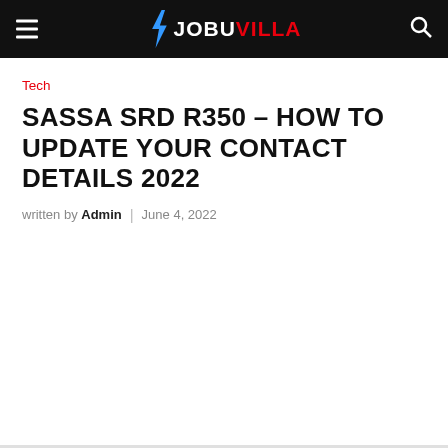JOBUVILLA
Tech
SASSA SRD R350 – HOW TO UPDATE YOUR CONTACT DETAILS 2022
written by Admin | June 4, 2022